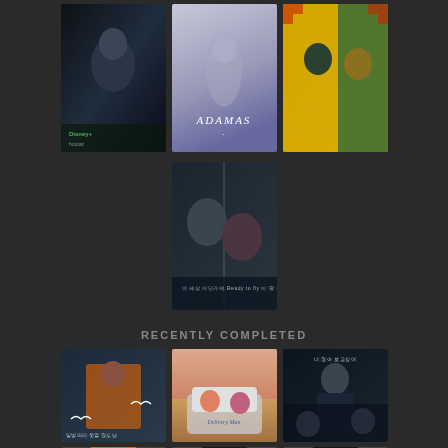[Figure (photo): Korean drama poster 1 - dark thriller with actor]
[Figure (photo): Korean drama poster - ADAMAS, misty gray atmospheric]
[Figure (photo): Korean drama poster - colorful with actors on yellow/teal background]
[Figure (photo): Korean drama poster - dual face split image, two characters]
RECENTLY COMPLETED
[Figure (photo): Korean drama poster - woman with orange coat, white birds]
[Figure (photo): Korean drama poster - two women in car, colorful market scene]
[Figure (photo): Korean drama poster - man in suit, dark thriller]
[Figure (photo): Korean drama poster - orange background with actor]
[Figure (photo): Korean drama poster - dark interior scene]
[Figure (photo): Korean drama poster - partial, dark moody]